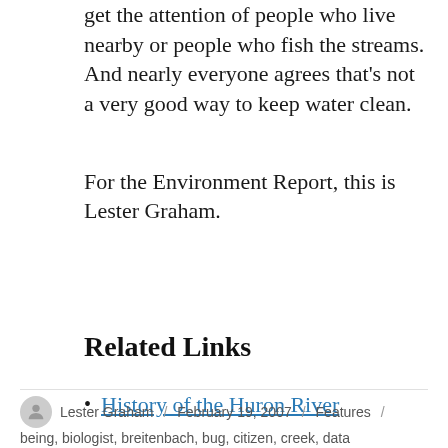get the attention of people who live nearby or people who fish the streams. And nearly everyone agrees that's not a very good way to keep water clean.
For the Environment Report, this is Lester Graham.
Related Links
History of the Huron River
Lester Graham / February 19, 2007 / Features / being, biologist, breitenbach, bug, citizen, creek, data